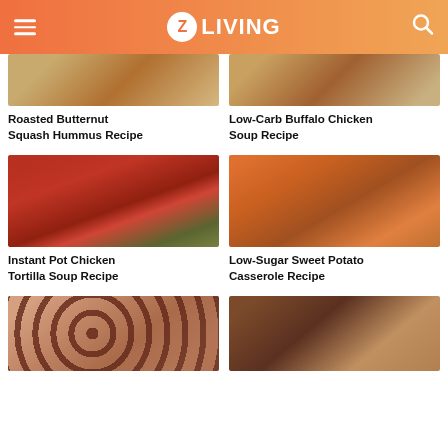Z LIVING
Roasted Butternut Squash Hummus Recipe
[Figure (photo): Photo of roasted butternut squash hummus]
Low-Carb Buffalo Chicken Soup Recipe
[Figure (photo): Photo of chicken tortilla soup with avocado, beans, and cilantro in a bowl]
Instant Pot Chicken Tortilla Soup Recipe
[Figure (photo): Photo of low-sugar sweet potato casserole on a spoon]
Low-Sugar Sweet Potato Casserole Recipe
[Figure (photo): Photo of pinwheel cookies]
[Figure (photo): Photo of chocolate and rolling pin on a wooden surface]